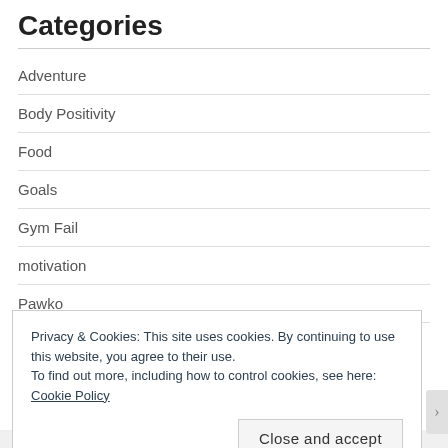Categories
Adventure
Body Positivity
Food
Goals
Gym Fail
motivation
Pawko
Races
Privacy & Cookies: This site uses cookies. By continuing to use this website, you agree to their use.
To find out more, including how to control cookies, see here:
Cookie Policy
Close and accept